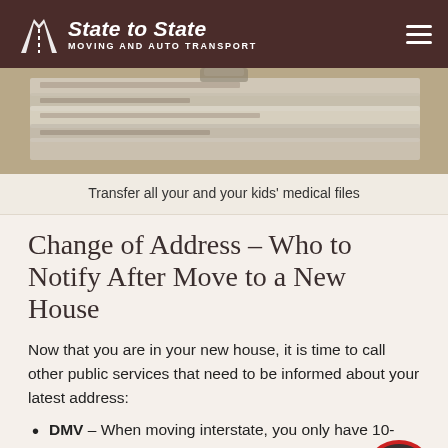State to State MOVING AND AUTO TRANSPORT
[Figure (photo): Close-up photo of stacked papers or documents, representing medical files]
Transfer all your and your kids' medical files
Change of Address – Who to Notify After Move to a New House
Now that you are in your new house, it is time to call other public services that need to be informed about your latest address:
DMV – When moving interstate, you only have 10- to transfer your driver's license and car registration and